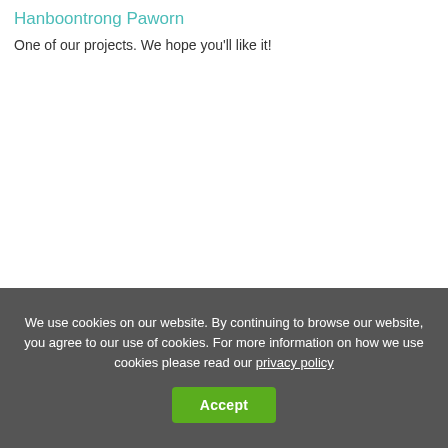Hanboontrong Paworn
One of our projects. We hope you'll like it!
We use cookies on our website. By continuing to browse our website, you agree to our use of cookies. For more information on how we use cookies please read our privacy policy
Accept